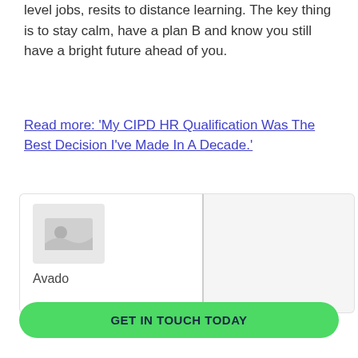level jobs, resits to distance learning. The key thing is to stay calm, have a plan B and know you still have a bright future ahead of you.
Read more: 'My CIPD HR Qualification Was The Best Decision I've Made In A Decade.'
[Figure (other): Card with Avado logo/image placeholder on left and a grey panel on the right]
Avado
GET IN TOUCH TODAY